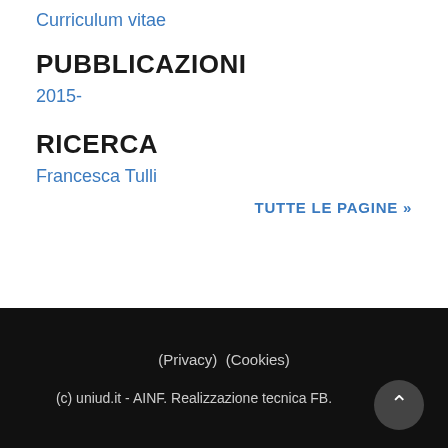Curriculum vitae
PUBBLICAZIONI
2015-
RICERCA
Francesca Tulli
TUTTE LE PAGINE »
(Privacy)  (Cookies)
(c) uniud.it - AINF. Realizzazione tecnica FB.